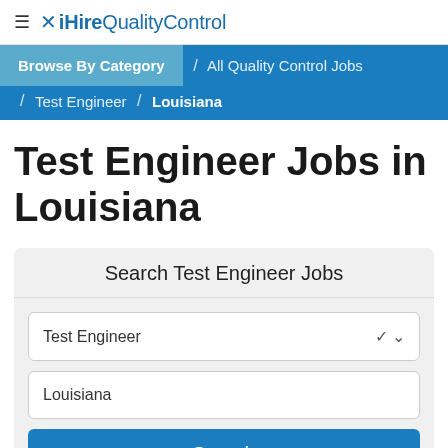≡ ✕ iHireQualityControl
Browse By Category / All Quality Control Jobs / Test Engineer / Louisiana
Test Engineer Jobs in Louisiana
Search Test Engineer Jobs
Test Engineer
Louisiana
Search